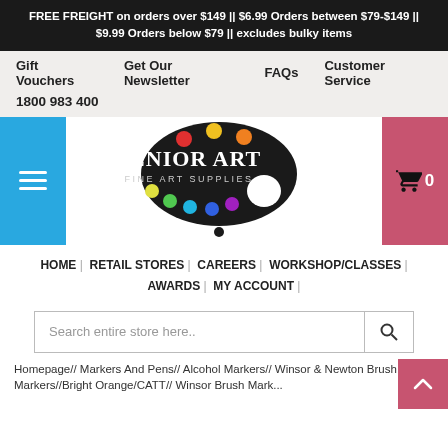FREE FREIGHT on orders over $149 || $6.99 Orders between $79-$149 || $9.99 Orders below $79 || excludes bulky items
Gift Vouchers   Get Our Newsletter   FAQs   Customer Service
1800 983 400
[Figure (logo): Senior Art Fine Art Supplies logo — black artist palette with colourful paint dots and white text]
HOME | RETAIL STORES | CAREERS | WORKSHOP/CLASSES | AWARDS | MY ACCOUNT |
Search entire store here..
Homepage// Markers And Pens// Alcohol Markers// Winsor & Newton Brush Markers//Bright Orange/CATT// Winsor Brush Mark...